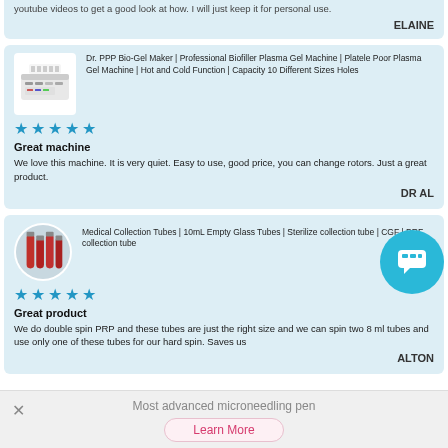youtube videos to get a good look at how. I will just keep it for personal use.
ELAINE
Dr. PPP Bio-Gel Maker | Professional Biofiller Plasma Gel Machine | Platelet Poor Plasma Gel Machine | Hot and Cold Function | Capacity 10 Different Sizes Holes
Great machine
We love this machine. It is very quiet. Easy to use, good price, you can change rotors. Just a great product.
DR AL
Medical Collection Tubes | 10mL Empty Glass Tubes | Sterilized collection tube | CGF | PRF collection tube
Great product
We do double spin PRP and these tubes are just the right size and we can spin two 8 ml tubes and use only one of these tubes for our hard spin. Saves us
ALTON
Most advanced microneedling pen
Learn More